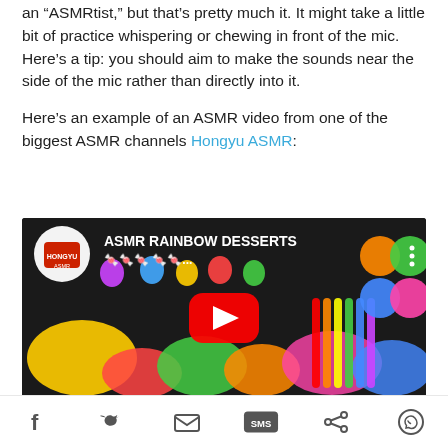an “ASMRtist,” but that’s pretty much it. It might take a little bit of practice whispering or chewing in front of the mic. Here’s a tip: you should aim to make the sounds near the side of the mic rather than directly into it.
Here’s an example of an ASMR video from one of the biggest ASMR channels Hongyu ASMR:
[Figure (screenshot): YouTube video thumbnail for Hongyu ASMR showing colorful rainbow gummy candies and desserts with title 'ASMR RAINBOW DESSERTS' and a red YouTube play button in the center.]
Social share icons: Facebook, Twitter, Email, SMS, Share, WhatsApp